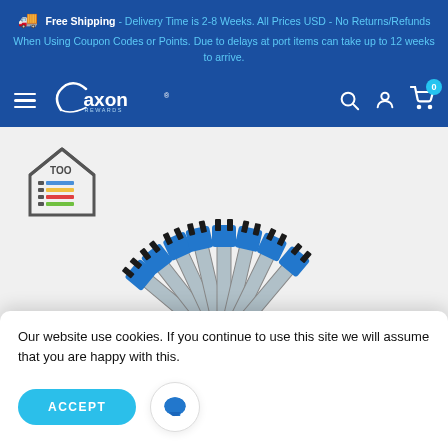Free Shipping - Delivery Time is 2-8 Weeks. All Prices USD - No Returns/Refunds When Using Coupon Codes or Points. Due to delays at port items can take up to 12 weeks to arrive.
[Figure (logo): Axon Rewards logo with navigation bar including hamburger menu, search, account, and cart icons]
[Figure (photo): TOO tool logo (house shape with colored bar indicators) in upper left of product section, and a fan arrangement of blue and silver drill bits/forstner bits displayed on a light grey background]
Our website use cookies. If you continue to use this site we will assume that you are happy with this.